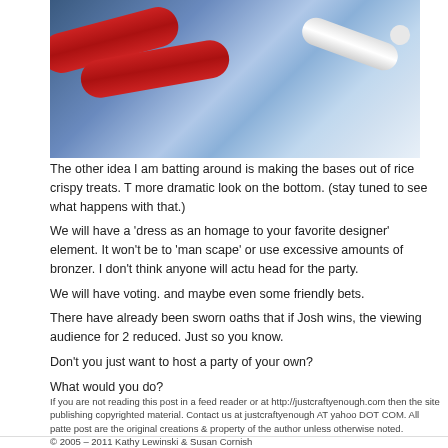[Figure (photo): Close-up photo of red and white glue or paint tubes on a blue surface]
The other idea I am batting around is making the bases out of rice crispy treats. T more dramatic look on the bottom. (stay tuned to see what happens with that.) We will have a 'dress as an homage to your favorite designer' element. It won't be to 'man scape' or use excessive amounts of bronzer. I don't think anyone will actu head for the party.
We will have voting. and maybe even some friendly bets.
There have already been sworn oaths that if Josh wins, the viewing audience for 2 reduced. Just so you know.
Don't you just want to host a party of your own?
What would you do?
If you are not reading this post in a feed reader or at http://justcraftyenough.com then the site publishing copyrighted material. Contact us at justcraftyenough AT yahoo DOT COM. All patte post are the original creations & property of the author unless otherwise noted.
© 2005 – 2011 Kathy Lewinski & Susan Cornish